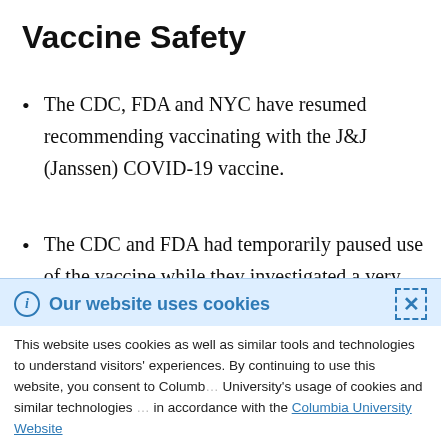Vaccine Safety
The CDC, FDA and NYC have resumed recommending vaccinating with the J&J (Janssen) COVID-19 vaccine.
The CDC and FDA had temporarily paused use of the vaccine while they investigated a very small number (cases of thrombocytopenia (low platelets) and thrombosis...
Our website uses cookies — This website uses cookies as well as similar tools and technologies to understand visitors' experiences. By continuing to use this website, you consent to Columbia University's usage of cookies and similar technologies in accordance with the Columbia University Website Cookie Notice.